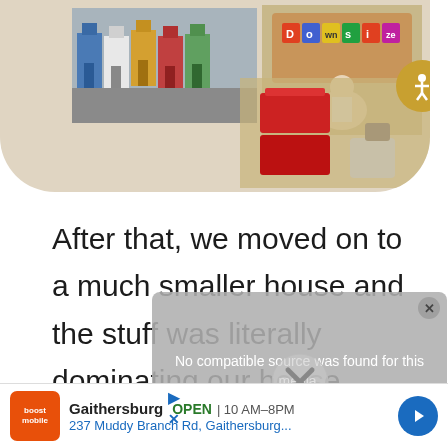[Figure (photo): Top image area with beige/tan rounded background showing colorful row of small houses, a person sitting next to a corkboard with 'Downsize' letters, and stacked red storage boxes]
After that, we moved on to a much smaller house and the stuff was literally dominating our house.
[Figure (screenshot): Gray media error overlay reading 'No compatible source was found for this media.' with a large X close button]
I know how we got to the point that
[Figure (infographic): Advertisement for Boost Mobile Gaithersburg location: OPEN 10AM-8PM, 237 Muddy Branch Rd, Gaithersburg with navigation arrow]